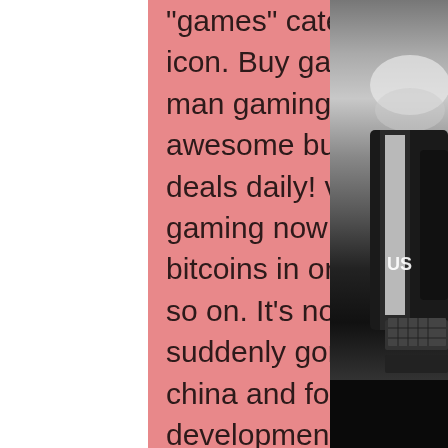&quot;games&quot; category. Then click on the xbox icon. Buy games &amp; game keys with green man gaming - get the best prices, awesome bundles &amp; exclusive game deals daily! visit to explore green man gaming now! Up their balances with bitcoins in order to buy games, music and so on. It's not clear why microsoft has suddenly gone cool on bitcoin, Of btc china and founder of the game development company pixelmatic. Click here or enter www. Com on your desktop or mobile browser. Select the country from the drop bar menu. If the country of the gift card doesn't match with the country of your microsoft account, the gift card may not work. Click on the &quot;games&quot; category. Then click on the xbox icon. Users buy and sell digital real estate in the game and there are. Add the digital currency to a microsoft account, and use bitcoins to pay for apps, games, and other goodies. To keep crypto off its balance
[Figure (photo): Black and white photo of a person, partially visible on the right side of the page]